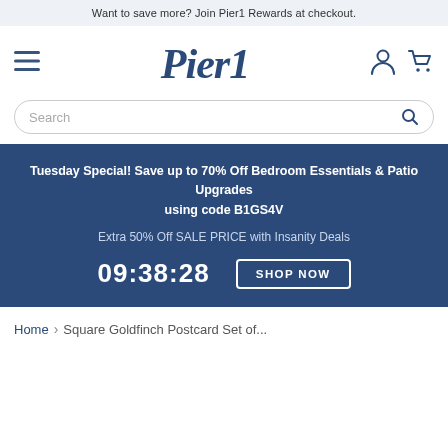Want to save more? Join Pier1 Rewards at checkout.
[Figure (logo): Pier1 logo with hamburger menu, account icon, and cart icon in navy blue navigation bar]
[Figure (screenshot): Search bar with rounded border and magnifying glass icon]
Tuesday Special! Save up to 70% Off Bedroom Essentials & Patio Upgrades using code B1GS4V
Extra 50% Off SALE PRICE with Insanity Deals
09:38:28  SHOP NOW
Home > Square Goldfinch Postcard Set of...